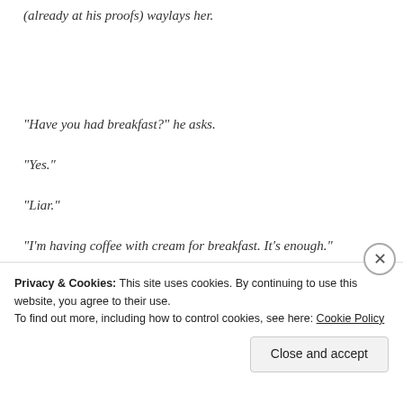(already at his proofs) waylays her.
“Have you had breakfast?” he asks.
“Yes.”
“Liar.”
“I’m having coffee with cream for breakfast. It’s enough.”
“It’s far from enough. I’m going to have Nelly bring you a bun and some fruit.”
Privacy & Cookies: This site uses cookies. By continuing to use this website, you agree to their use.
To find out more, including how to control cookies, see here: Cookie Policy